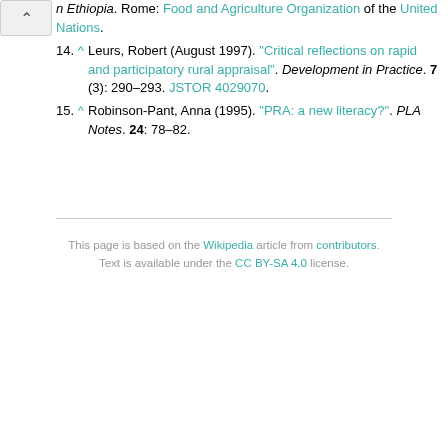n Ethiopia. Rome: Food and Agriculture Organization of the United Nations.
14. ^ Leurs, Robert (August 1997). "Critical reflections on rapid and participatory rural appraisal". Development in Practice. 7 (3): 290–293. JSTOR 4029070.
15. ^ Robinson-Pant, Anna (1995). "PRA: a new literacy?". PLA Notes. 24: 78–82.
This page is based on the Wikipedia article from contributors. Text is available under the CC BY-SA 4.0 license.